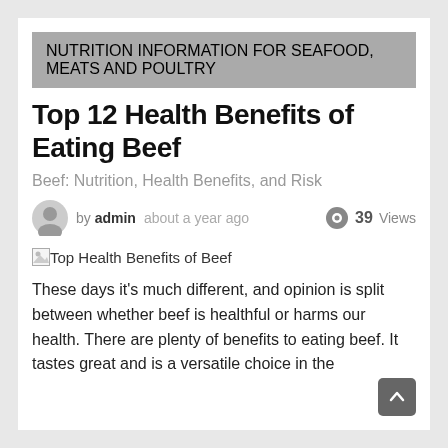NUTRITION INFORMATION FOR SEAFOOD, MEATS AND POULTRY
Top 12 Health Benefits of Eating Beef
Beef: Nutrition, Health Benefits, and Risk
by admin   about a year ago   39 Views
[Figure (photo): Top Health Benefits of Beef (broken image placeholder)]
These days it's much different, and opinion is split between whether beef is healthful or harms our health. There are plenty of benefits to eating beef. It tastes great and is a versatile choice in the